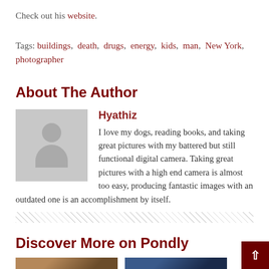Check out his website.
Tags: buildings, death, drugs, energy, kids, man, New York, photographer
About The Author
[Figure (illustration): Generic user avatar placeholder — grey square with a silhouette of a person (circle head, rounded body)]
Hyathiz
I love my dogs, reading books, and taking great pictures with my battered but still functional digital camera. Taking great pictures with a high end camera is almost too easy, producing fantastic images with an outdated one is an accomplishment by itself.
Discover More on Pondly
[Figure (photo): Thumbnail image on the left, brownish tones]
[Figure (photo): Thumbnail image on the right, dark blue tones]